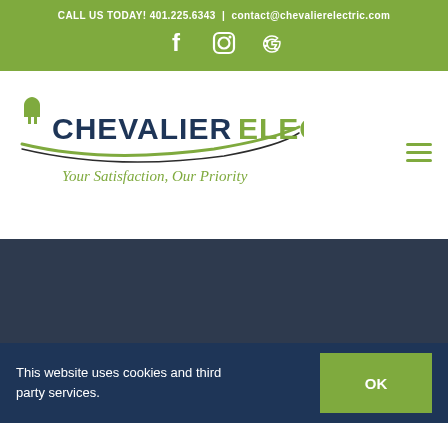CALL US TODAY! 401.225.6343 | contact@chevalierelectric.com
[Figure (logo): Chevalier Electric LLC logo with green plug icon, dark blue and green text reading CHEVALIER ELECTRIC LLC, and green italic tagline: Your Satisfaction, Our Priority]
This website uses cookies and third party services.
OK